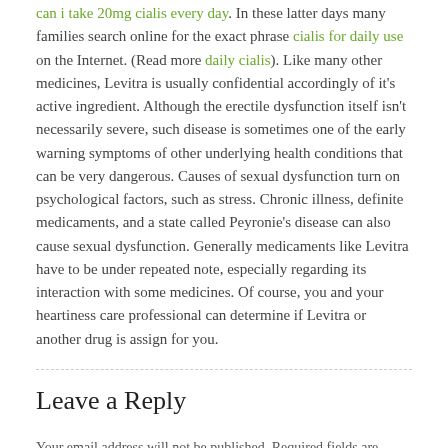can i take 20mg cialis every day. In these latter days many families search online for the exact phrase cialis for daily use on the Internet. (Read more daily cialis). Like many other medicines, Levitra is usually confidential accordingly of it's active ingredient. Although the erectile dysfunction itself isn't necessarily severe, such disease is sometimes one of the early warning symptoms of other underlying health conditions that can be very dangerous. Causes of sexual dysfunction turn on psychological factors, such as stress. Chronic illness, definite medicaments, and a state called Peyronie's disease can also cause sexual dysfunction. Generally medicaments like Levitra have to be under repeated note, especially regarding its interaction with some medicines. Of course, you and your heartiness care professional can determine if Levitra or another drug is assign for you.
Leave a Reply
Your email address will not be published. Required fields are marked *